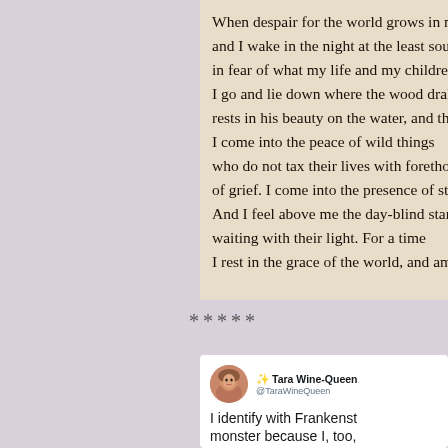[Figure (photo): Photograph of a book page showing lines of poetry: 'When despair for the world grows in me / and I wake in the night at the least sound / in fear of what my life and my children / I go and lie down where the wood drake / rests in his beauty on the water, and th / I come into the peace of wild things / who do not tax their lives with foretho / of grief. I come into the presence of sti / And I feel above me the day-blind stars / waiting with their light. For a time / I rest in the grace of the world, and am']
*****
[Figure (screenshot): Screenshot of a tweet by Tara Wine-Queen (@TaraWineQueen) with avatar photo. Tweet text reads: 'I identify with Frankenstein's monster because I, too,']